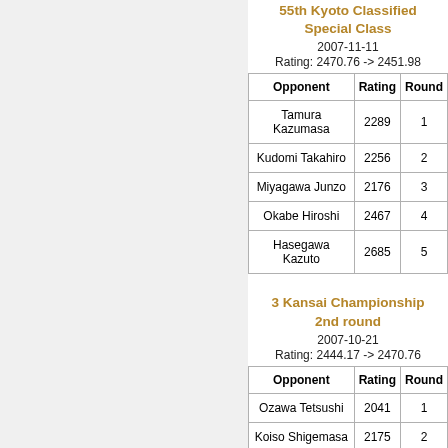55th Kyoto Classified Special Class
2007-11-11
Rating: 2470.76 -> 2451.98
| Opponent | Rating | Round |
| --- | --- | --- |
| Tamura Kazumasa | 2289 | 1 |
| Kudomi Takahiro | 2256 | 2 |
| Miyagawa Junzo | 2176 | 3 |
| Okabe Hiroshi | 2467 | 4 |
| Hasegawa Kazuto | 2685 | 5 |
3 Kansai Championship 2nd round
2007-10-21
Rating: 2444.17 -> 2470.76
| Opponent | Rating | Round |
| --- | --- | --- |
| Ozawa Tetsushi | 2041 | 1 |
| Koiso Shigemasa | 2175 | 2 |
| Tamura Kazumasa | 2269 | 3 |
| Takasaw Teii | 2285 | 4 |